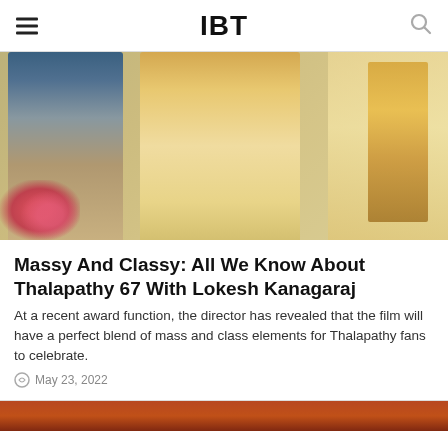IBT
[Figure (photo): A man in a blue denim shirt and khaki pants and a woman in a golden/cream saree at what appears to be a temple or decorated venue setting with flowers and lamps in the background.]
Massy And Classy: All We Know About Thalapathy 67 With Lokesh Kanagaraj
At a recent award function, the director has revealed that the film will have a perfect blend of mass and class elements for Thalapathy fans to celebrate.
May 23, 2022
[Figure (photo): Partial view of a second article image at the bottom of the page, showing a reddish-orange toned scene.]